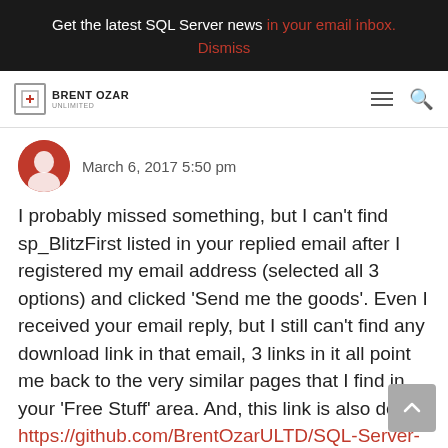Get the latest SQL Server news in your email inbox. Dismiss
[Figure (logo): Brent Ozar Unlimited logo with hamburger menu and search icon]
March 6, 2017 5:50 pm
I probably missed something, but I can't find sp_BlitzFirst listed in your replied email after I registered my email address (selected all 3 options) and clicked 'Send me the goods'. Even I received your email reply, but I still can't find any download link in that email, 3 links in it all point me back to the very similar pages that I find in your 'Free Stuff' area. And, this link is also dead: https://github.com/BrentOzarULTD/SQL-Server-First-Responder-Kit